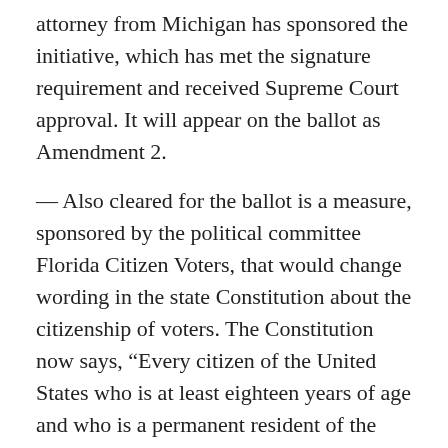attorney from Michigan has sponsored the initiative, which has met the signature requirement and received Supreme Court approval. It will appear on the ballot as Amendment 2.
— Also cleared for the ballot is a measure, sponsored by the political committee Florida Citizen Voters, that would change wording in the state Constitution about the citizenship of voters. The Constitution now says, “Every citizen of the United States who is at least eighteen years of age and who is a permanent resident of the state, if registered as provided by law, shall be an elector of the county where registered.” The proposal would change that wording to: “Only a citizen of the United States who is at least eighteen years of age and who is a permanent resident of the state, if registered as provided by law, shall be an elector of the county where registered.” The proposal will appear on the ballot as Amendment 1.
WAITING GAME:
The Supreme Court is weighing a proposed constitutional